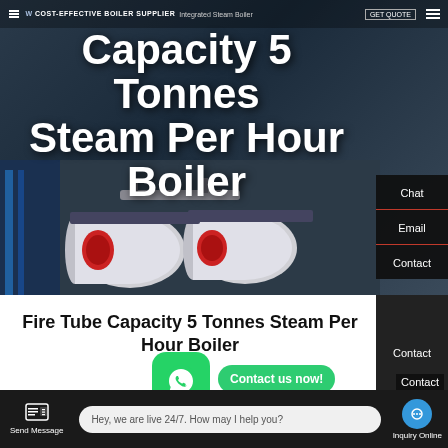[Figure (screenshot): Website screenshot showing a fire tube boiler supplier page with hero image of industrial boilers, navigation bar with 'COST-EFFECTIVE BOILER SUPPLIER' and 'Integrated Steam Boiler' text, large white hero title text, sidebar with Chat/Email/Contact buttons, WhatsApp contact button, and bottom chat bar.]
Capacity 5 Tonnes Steam Per Hour Boiler
Fire Tube Capacity 5 Tonnes Steam Per Hour Boiler
Hey, we are live 24/7. How may I help you?
Contact us now!
Send Message
Inquiry Online